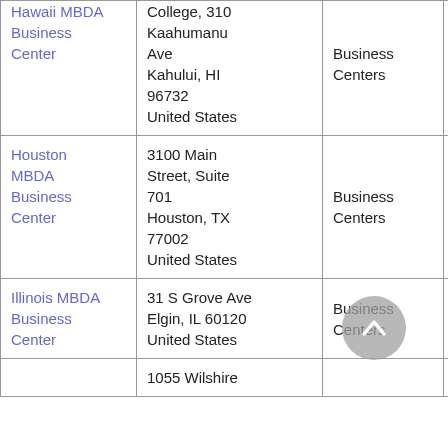| Name | Address | Type | Phone (partial) |
| --- | --- | --- | --- |
| Hawaii MBDA Business Center | College, 310 Kaahumanu Ave
Kahului, HI 96732
United States | Business Centers | 80
98
35 |
| Houston MBDA Business Center | 3100 Main Street, Suite 701
Houston, TX 77002
United States | Business Centers | 71
71
89 |
| Illinois MBDA Business Center | 31 S Grove Ave
Elgin, IL 60120
United States | Business Centers | 63
52
10 |
|  | 1055 Wilshire |  | 21 |